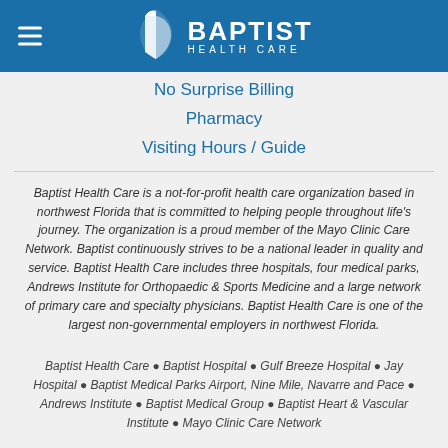[Figure (logo): Baptist Health Care logo with white icon and text on blue header bar]
No Surprise Billing
Pharmacy
Visiting Hours / Guide
Baptist Health Care is a not-for-profit health care organization based in northwest Florida that is committed to helping people throughout life's journey. The organization is a proud member of the Mayo Clinic Care Network. Baptist continuously strives to be a national leader in quality and service. Baptist Health Care includes three hospitals, four medical parks, Andrews Institute for Orthopaedic & Sports Medicine and a large network of primary care and specialty physicians. Baptist Health Care is one of the largest non-governmental employers in northwest Florida.
Baptist Health Care ● Baptist Hospital ● Gulf Breeze Hospital ● Jay Hospital ● Baptist Medical Parks Airport, Nine Mile, Navarre and Pace ● Andrews Institute ● Baptist Medical Group ● Baptist Heart & Vascular Institute ● Mayo Clinic Care Network